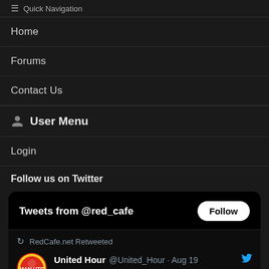≡ Quick Navigation
Home
Forums
Contact Us
User Menu
Login
Follow us on Twitter
[Figure (screenshot): Twitter widget showing 'Tweets from @red_cafe' with a Follow button, and a retweeted post by United Hour @United_Hour from Aug 19 saying '⚽Bonus #podcast for you lucky listeners!⚽']